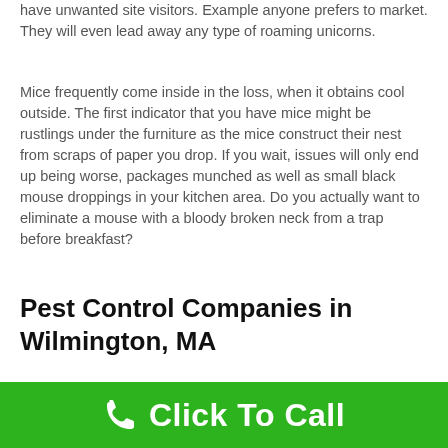have unwanted site visitors. Example anyone prefers to market. They will even lead away any type of roaming unicorns.
Mice frequently come inside in the loss, when it obtains cool outside. The first indicator that you have mice might be rustlings under the furniture as the mice construct their nest from scraps of paper you drop. If you wait, issues will only end up being worse, packages munched as well as small black mouse droppings in your kitchen area. Do you actually want to eliminate a mouse with a bloody broken neck from a trap before breakfast?
Pest Control Companies in Wilmington, MA
[Figure (screenshot): YouTube video thumbnail showing '24 hour emergency pest control s...' with a pest control logo and a person standing in front of a house]
Click To Call